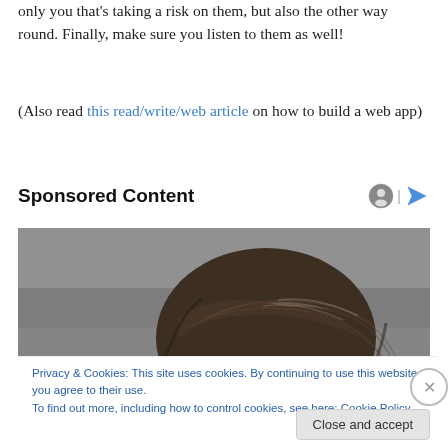only you that's taking a risk on them, but also the other way round. Finally, make sure you listen to them as well!
(Also read this read/write/web article on how to build a web app)
Sponsored Content
[Figure (photo): Cropped photo of a person's head with dark hair against a grey textured background]
Privacy & Cookies: This site uses cookies. By continuing to use this website, you agree to their use.
To find out more, including how to control cookies, see here: Cookie Policy